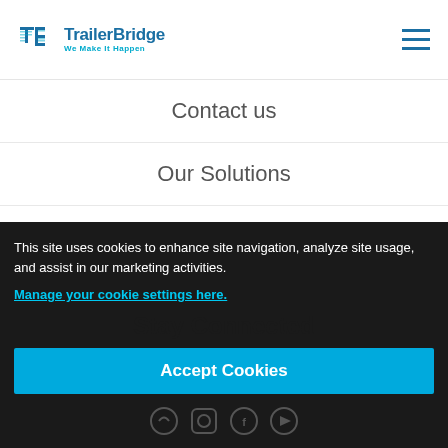[Figure (logo): Trailer Bridge logo with TB icon and tagline 'We Make It Happen']
Contact us
Our Solutions
Insights + Resources
This site uses cookies to enhance site navigation, analyze site usage, and assist in our marketing activities. Manage your cookie settings here.
Stay Connected
Accept Cookies